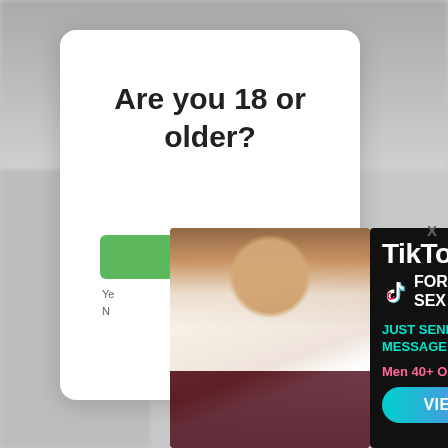Are you 18 or older?
[Figure (photo): Photo of a blonde woman in a restaurant/bar setting, wearing a white top and burgundy blazer]
[Figure (infographic): TikTok For Sex advertisement on black background with teal and pink text, showing 'JUST SEND A MESSAGE AND FUCK!', 'Men 40+ Only', and a 'VIEW PICS' button]